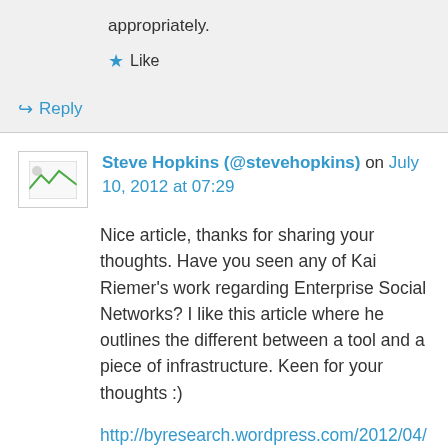appropriately.
★ Like
↳ Reply
Steve Hopkins (@stevehopkins) on July 10, 2012 at 07:29
Nice article, thanks for sharing your thoughts. Have you seen any of Kai Riemer's work regarding Enterprise Social Networks? I like this article where he outlines the different between a tool and a piece of infrastructure. Keen for your thoughts :)
http://byresearch.wordpress.com/2012/04/01/tool-or-infrastructure/